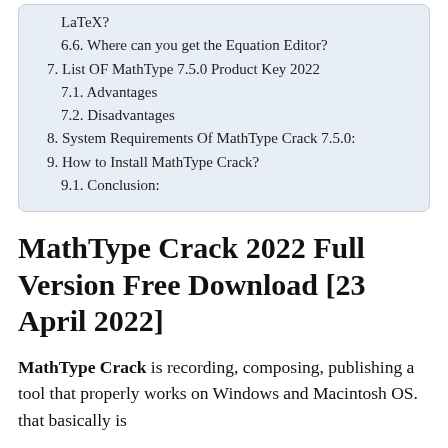LaTeX?
6.6. Where can you get the Equation Editor?
7. List OF MathType 7.5.0 Product Key 2022
7.1. Advantages
7.2. Disadvantages
8. System Requirements Of MathType Crack 7.5.0:
9. How to Install MathType Crack?
9.1. Conclusion:
MathType Crack 2022 Full Version Free Download [23 April 2022]
MathType Crack is recording, composing, publishing a tool that properly works on Windows and Macintosh OS. that basically is